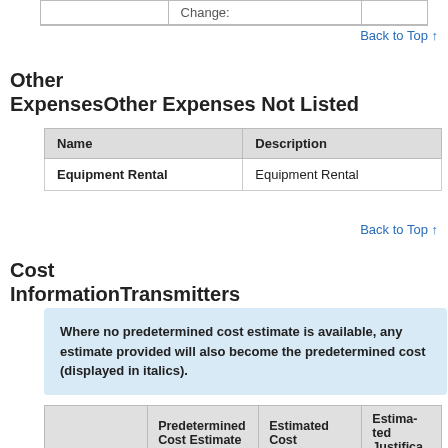|  | Change: |
| --- | --- |
Back to Top ↑
Other Expenses
Other Expenses Not Listed
| Name | Description |
| --- | --- |
| Equipment Rental | Equipment Rental |
Back to Top ↑
Cost Information
Transmitters
Where no predetermined cost estimate is available, any estimate provided will also become the predetermined cost (displayed in italics).
| Description | Predetermined Cost Estimate | Estimated Cost | Estimated Justifica... |
| --- | --- | --- | --- |